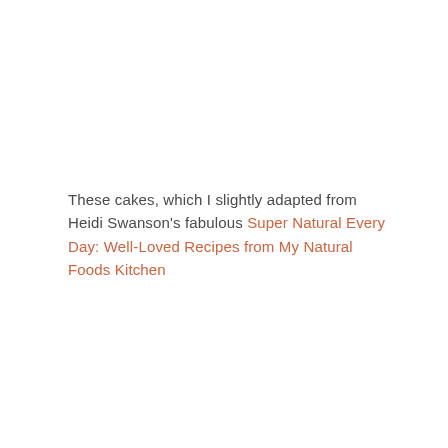These cakes, which I slightly adapted from Heidi Swanson's fabulous Super Natural Every Day: Well-Loved Recipes from My Natural Foods Kitchen